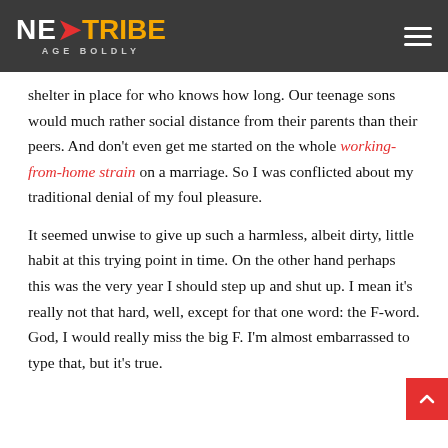NEXTTRIBE AGE BOLDLY
shelter in place for who knows how long. Our teenage sons would much rather social distance from their parents than their peers. And don't even get me started on the whole working-from-home strain on a marriage. So I was conflicted about my traditional denial of my foul pleasure.
It seemed unwise to give up such a harmless, albeit dirty, little habit at this trying point in time. On the other hand perhaps this was the very year I should step up and shut up. I mean it's really not that hard, well, except for that one word: the F-word. God, I would really miss the big F. I'm almost embarrassed to type that, but it's true.